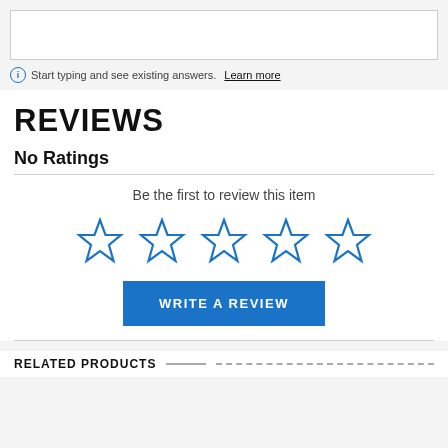Start typing and see existing answers. Learn more
REVIEWS
No Ratings
Be the first to review this item
[Figure (other): Five empty star rating icons in blue outline]
WRITE A REVIEW
RELATED PRODUCTS